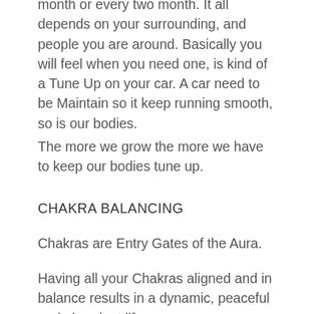month or every two month. It all depends on your surrounding, and people you are around. Basically you will feel when you need one, is kind of a Tune Up on your car. A car need to be Maintain so it keep running smooth, so is our bodies.
The more we grow the more we have to keep our bodies tune up.
CHAKRA BALANCING
Chakras are Entry Gates of the Aura.
Having all your Chakras aligned and in balance results in a dynamic, peaceful and abundant life.